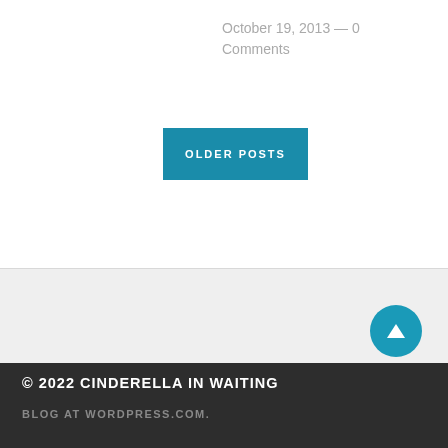October 19, 2013 — 0 Comments
OLDER POSTS
© 2022 CINDERELLA IN WAITING
BLOG AT WORDPRESS.COM.